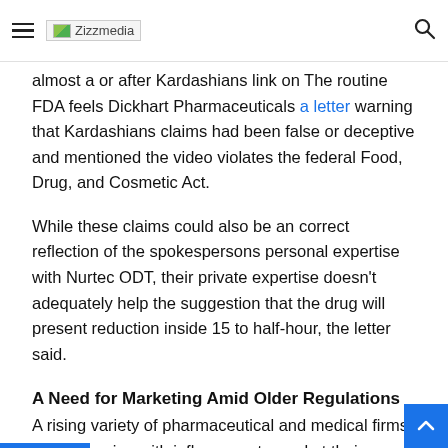Zizzmedia
almost a or after Kardashians link on The routine FDA feels Dickhart Pharmaceuticals a letter warning that Kardashians claims had been false or deceptive and mentioned the video violates the federal Food, Drug, and Cosmetic Act.
While these claims could also be an correct reflection of the spokespersons personal expertise with Nurtec ODT, their private expertise doesn't adequately help the suggestion that the drug will present reduction inside 15 to half-hour, the letter said.
A Need for Marketing Amid Older Regulations
A rising variety of pharmaceutical and medical firms are partnering with influencers to market their services and products on social media platforms, like Instagram and Twitter, in keeping with early analysis findings published in the Journal